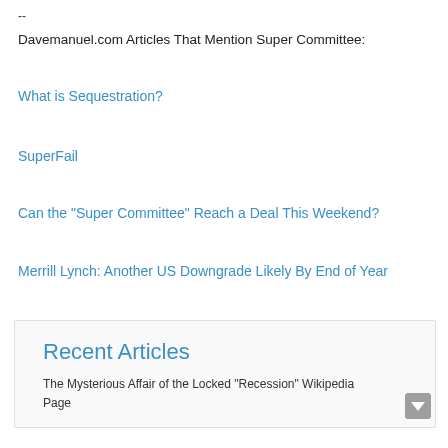--
Davemanuel.com Articles That Mention Super Committee:
What is Sequestration?
SuperFail
Can the "Super Committee" Reach a Deal This Weekend?
Merrill Lynch: Another US Downgrade Likely By End of Year
Recent Articles
The Mysterious Affair of the Locked "Recession" Wikipedia Page